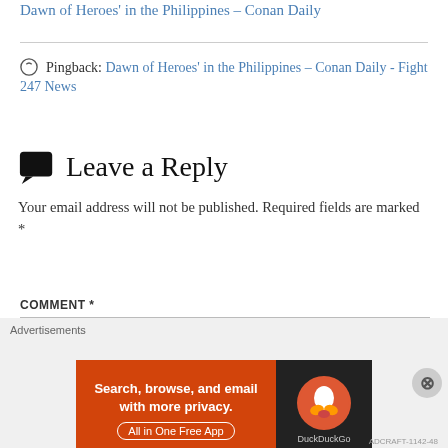Dawn of Heroes' in the Philippines – Conan Daily
Pingback: Dawn of Heroes’ in the Philippines – Conan Daily - Fight 247 News
Leave a Reply
Your email address will not be published. Required fields are marked *
COMMENT *
[Figure (other): DuckDuckGo advertisement banner: orange section with text 'Search, browse, and email with more privacy. All in One Free App', dark section with DuckDuckGo logo]
Advertisements